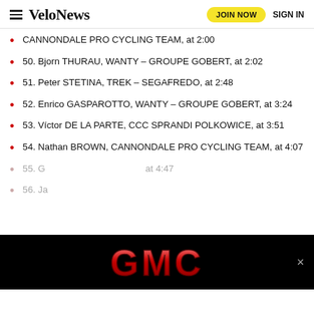VeloNews | JOIN NOW | SIGN IN
CANNONDALE PRO CYCLING TEAM, at 2:00
50. Bjorn THURAU, WANTY – GROUPE GOBERT, at 2:02
51. Peter STETINA, TREK – SEGAFREDO, at 2:48
52. Enrico GASPAROTTO, WANTY – GROUPE GOBERT, at 3:24
53. Víctor DE LA PARTE, CCC SPRANDI POLKOWICE, at 3:51
54. Nathan BROWN, CANNONDALE PRO CYCLING TEAM, at 4:07
55. G... [obscured] TEAM ..., at 4:47
56. Ja... [partially visible]
[Figure (logo): GMC advertisement banner with red GMC logo text on black background]